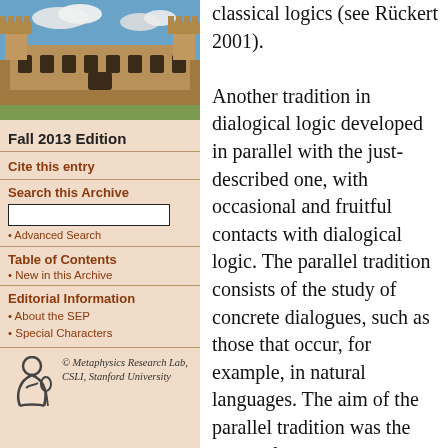[Figure (photo): Photo of a historic university building with gothic architecture under a blue sky with clouds]
Fall 2013 Edition
Cite this entry
Search this Archive
• Advanced Search
Table of Contents
• New in this Archive
Editorial Information
• About the SEP
• Special Characters
[Figure (logo): Metaphysics Research Lab logo — stylized figure]
© Metaphysics Research Lab, CSLI, Stanford University
classical logics (see Rückert 2001).

Another tradition in dialogical logic developed in parallel with the just-described one, with occasional and fruitful contacts with dialogical logic. The parallel tradition consists of the study of concrete dialogues, such as those that occur, for example, in natural languages. The aim of the parallel tradition was the study of the underlying logical regularities of these concrete dialogues. This tradition includes (to name but a few) the new rhetoric of Perelman (Perelman & L. Olbrechts-Tyteca 1958),